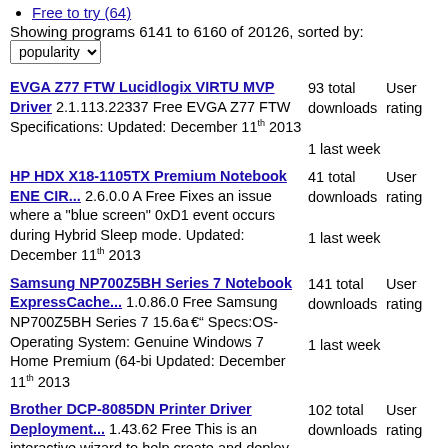Free to try (64)
Showing programs 6141 to 6160 of 20126, sorted by: popularity
EVGA Z77 FTW Lucidlogix VIRTU MVP Driver 2.1.113.22337 Free EVGA Z77 FTW Specifications: Updated: December 11th 2013 | 93 total downloads | 1 last week | User rating
HP HDX X18-1105TX Premium Notebook ENE CIR... 2.6.0.0 A Free Fixes an issue where a "blue screen" 0xD1 event occurs during Hybrid Sleep mode. Updated: December 11th 2013 | 41 total downloads | 1 last week | User rating
Samsung NP700Z5BH Series 7 Notebook ExpressCache... 1.0.86.0 Free Samsung NP700Z5BH Series 7 15.6â€ Specs:OS-Operating System: Genuine Windows 7 Home Premium (64-bi Updated: December 11th 2013 | 141 total downloads | 1 last week | User rating
Brother DCP-8085DN Printer Driver Deployment... 1.43.62 Free This is an interactive wizard to help create and deploy | 102 total downloads | User rating